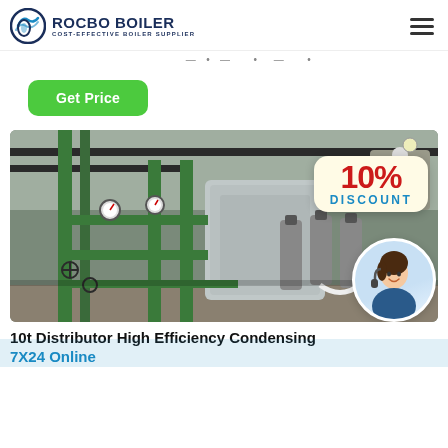ROCBO BOILER - COST-EFFECTIVE BOILER SUPPLIER
Get Price
[Figure (photo): Industrial boiler room with green pipes, pumps, gauges, and a 10% DISCOUNT badge overlay; a customer service agent in a circular portrait in the bottom-right corner.]
10t Distributor High Efficiency Condensing 7X24 Online